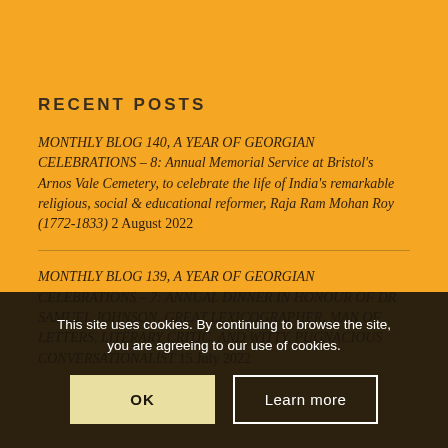RECENT POSTS
MONTHLY BLOG 140, A YEAR OF GEORGIAN CELEBRATIONS – 8: Annual Memorial Service at Bristol's Arnos Vale Cemetery, to celebrate the life of India's remarkable religious, social & educational reformer, Raja Ram Mohan Roy (1772-1833) 2 August 2022
MONTHLY BLOG 139, A YEAR OF GEORGIAN CELEBRATIONS – 7: ANNUAL DINNER IN HONOUR OF DR SAMUEL JOHNSON, GREAT LEXICOGRAPHER, MAN OF LETTERS, LITERARY CRITIC, AND WITTY, PUGNACIOUS CONVERSATIONALIST 15 July 2022
This site uses cookies. By continuing to browse the site, you are agreeing to our use of cookies.